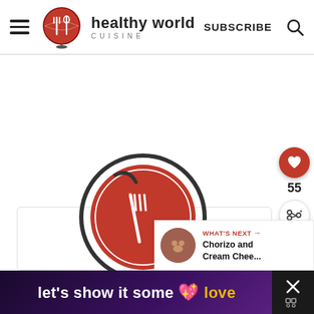[Figure (logo): Healthy World Cuisine logo: globe with fork and spoon, text 'healthy world CUISINE', hamburger menu, SUBSCRIBE button, search icon in header navigation bar]
[Figure (illustration): Large Healthy World Cuisine logo globe/plate icon centered in main content area, dark outline circular plate with fork icon]
[Figure (infographic): Floating action panel on right: red circular heart/save button, count '55', white circular share button]
[Figure (screenshot): What's Next panel showing circular thumbnail image and text 'WHAT'S NEXT -> Chorizo and Cream Chee...']
[Figure (infographic): Ad banner at bottom: dark purple gradient background with text "let's show it some love" with pink heart emoji, love in gold/yellow color; X close button on right]